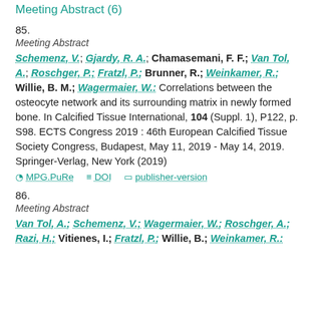Meeting Abstract (6)
85.
Meeting Abstract
Schemenz, V.; Gjardy, R. A.; Chamasemani, F. F.; Van Tol, A.; Roschger, P.; Fratzl, P.; Brunner, R.; Weinkamer, R.; Willie, B. M.; Wagermaier, W.: Correlations between the osteocyte network and its surrounding matrix in newly formed bone. In Calcified Tissue International, 104 (Suppl. 1), P122, p. S98. ECTS Congress 2019 : 46th European Calcified Tissue Society Congress, Budapest, May 11, 2019 - May 14, 2019. Springer-Verlag, New York (2019)
MPG.PuRe   DOI   publisher-version
86.
Meeting Abstract
Van Tol, A.; Schemenz, V.; Wagermaier, W.; Roschger, A.; Razi, H.; Vitienes, I.; Fratzl, P.; Willie, B.; Weinkamer, R.: